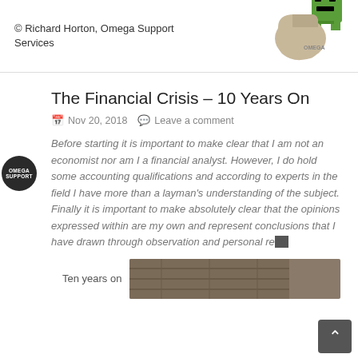© Richard Horton, Omega Support Services
[Figure (photo): A tan/beige hiking sock and a small green graphic character stacked on top of each other]
The Financial Crisis – 10 Years On
Nov 20, 2018   Leave a comment
Before starting it is important to make clear that I am not an economist nor am I a financial analyst.  However, I do hold some accounting qualifications and according to experts in the field I have more than a layman's understanding of the subject.  Finally it is important to make absolutely clear that the opinions expressed within are my own and represent conclusions that I have drawn through observation and personal research.
Ten years on